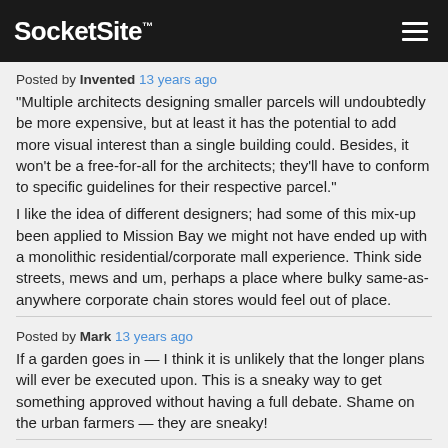SocketSite™
Posted by Invented 13 years ago
“Multiple architects designing smaller parcels will undoubtedly be more expensive, but at least it has the potential to add more visual interest than a single building could. Besides, it won't be a free-for-all for the architects; they'll have to conform to specific guidelines for their respective parcel.”
I like the idea of different designers; had some of this mix-up been applied to Mission Bay we might not have ended up with a monolithic residential/corporate mall experience. Think side streets, mews and um, perhaps a place where bulky same-as-anywhere corporate chain stores would feel out of place.
Posted by Mark 13 years ago
If a garden goes in — I think it is unlikely that the longer plans will ever be executed upon. This is a sneaky way to get something approved without having a full debate. Shame on the urban farmers — they are sneaky!
Posted by Big V 13 years ago